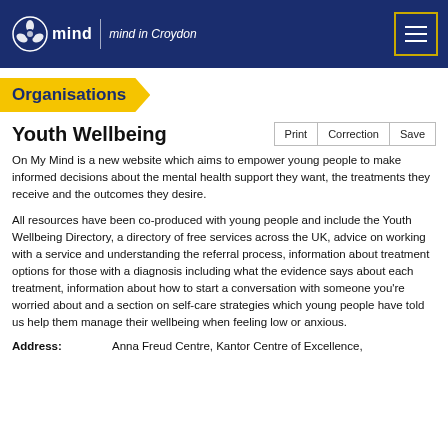mind | Mind in Croydon
Organisations
Youth Wellbeing
On My Mind is a new website which aims to empower young people to make informed decisions about the mental health support they want, the treatments they receive and the outcomes they desire.
All resources have been co-produced with young people and include the Youth Wellbeing Directory, a directory of free services across the UK, advice on working with a service and understanding the referral process, information about treatment options for those with a diagnosis including what the evidence says about each treatment, information about how to start a conversation with someone you're worried about and a section on self-care strategies which young people have told us help them manage their wellbeing when feeling low or anxious.
Address: Anna Freud Centre, Kantor Centre of Excellence,